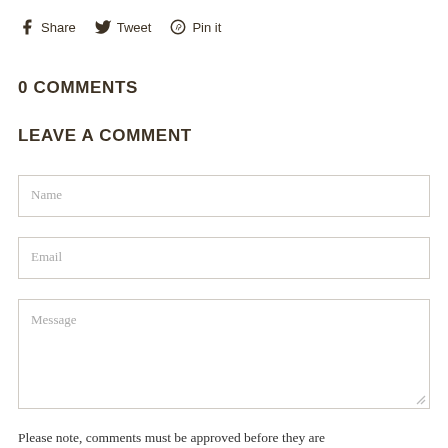Share  Tweet  Pin it
0 COMMENTS
LEAVE A COMMENT
Name
Email
Message
Please note, comments must be approved before they are published.